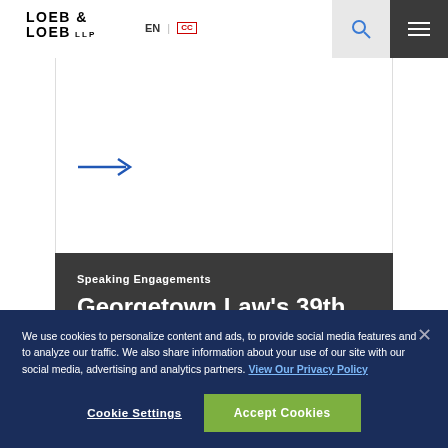LOEB & LOEB LLP | EN | CC
[Figure (illustration): Blue right-pointing arrow on white background inside a bordered card area]
Speaking Engagements
Georgetown Law's 39th Annual Representing
We use cookies to personalize content and ads, to provide social media features and to analyze our traffic. We also share information about your use of our site with our social media, advertising and analytics partners. View Our Privacy Policy
Cookie Settings
Accept Cookies